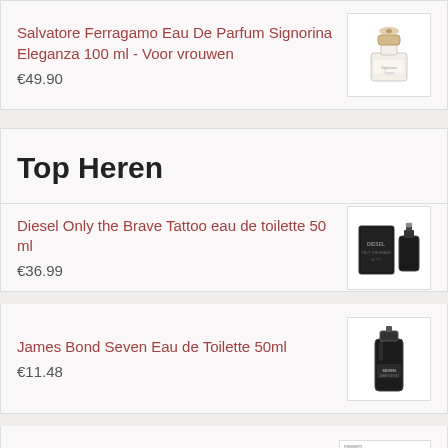Salvatore Ferragamo Eau De Parfum Signorina Eleganza 100 ml - Voor vrouwen
€49.90
Top Heren
Diesel Only the Brave Tattoo eau de toilette 50 ml
€36.99
James Bond Seven Eau de Toilette 50ml
€11.48
Lacoste Pour Homme Eau de toilette 100ML
€36.99